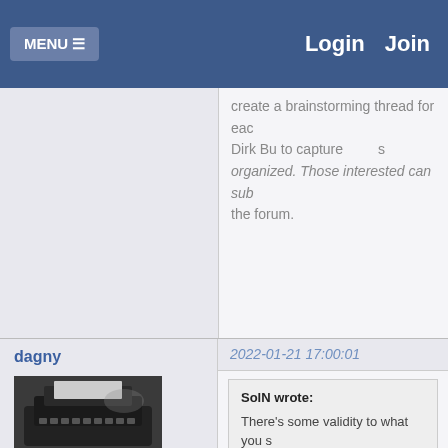MENU  Login  Join
create a brainstorming thread for each... Dirk Bu to capture... organized. Those interested can sub... the forum.
dagny
2022-01-21 17:00:01
SolN wrote:
There's some validity to what you s... quit the site because of the argume... tired of constantly responding to di... been hurt. It was quite shocking to... happened in the forums personally... said. It's the main reason I broke th... decision.
Sol--
What really helped in the new forum w... it' rule.